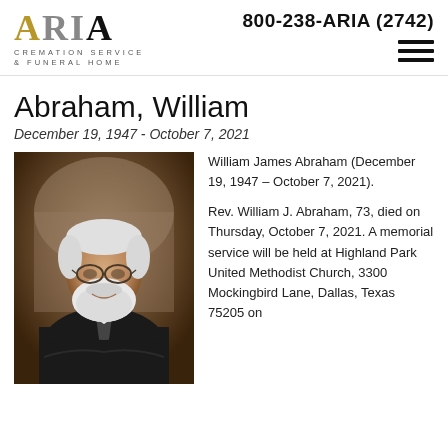800-238-ARIA (2742)
[Figure (logo): ARIA Cremation Service & Funeral Home logo]
Abraham, William
December 19, 1947 - October 7, 2021
[Figure (photo): Portrait photo of William James Abraham, elderly man with white beard and glasses, wearing dark suit, arms crossed, smiling]
William James Abraham (December 19, 1947 – October 7, 2021).

Rev. William J. Abraham, 73, died on Thursday, October 7, 2021. A memorial service will be held at Highland Park United Methodist Church, 3300 Mockingbird Lane, Dallas, Texas 75205 on